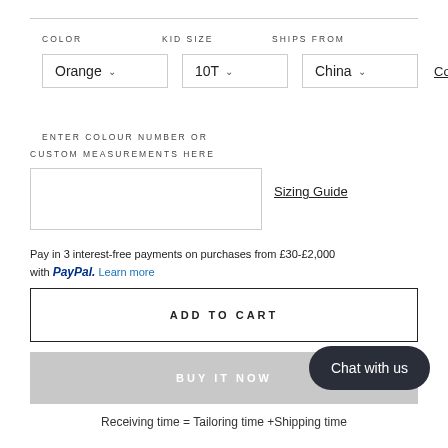COLOR   KID SIZE   SHIPS FROM
Orange ∨   10T ∨   China ∨   Color Chart
ENTER COLOUR NUMBER OR CUSTOM MEASUREMENTS HERE
Sizing Guide
Pay in 3 interest-free payments on purchases from £30-£2,000 with PayPal. Learn more
ADD TO CART
BUY IT NOW
Chat with us
Receiving time = Tailoring time +Shipping time